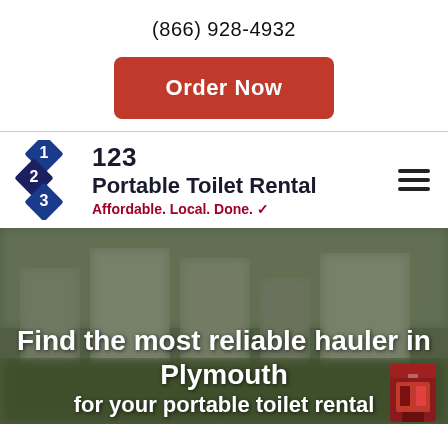(866) 928-4932
Order Now
[Figure (logo): 123 Portable Toilet Rental logo with blue diamond icon and tagline 'Affordable. Local. Done.']
Find the most reliable hauler in Plymouth
for your portable toilet rental